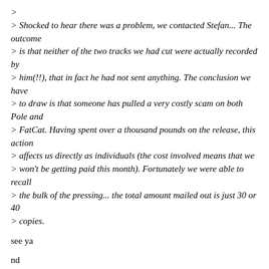>
> Shocked to hear there was a problem, we contacted Stefan... The outcome
> is that neither of the two tracks we had cut were actually recorded by
> him(!!), that in fact he had not sent anything. The conclusion we have
> to draw is that someone has pulled a very costly scam on both Pole and
> FatCat. Having spent over a thousand pounds on the release, this action
> affects us directly as individuals (the cost involved means that we
> won't be getting paid this month). Fortunately we were able to recall
> the bulk of the pressing... the total amount mailed out is just 30 or 40
> copies.
see ya
nd
------------------------------------------------------
Rumori, the Detritus.net Discussion List
to unsubscribe, send mail to majordomoATdetritus.net